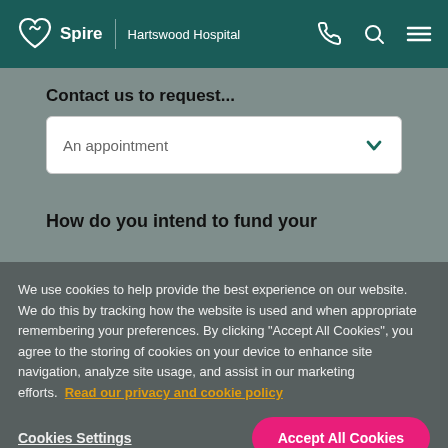Spire | Hartswood Hospital
Contact us to request...
An appointment
How do you intend to fund your
We use cookies to help provide the best experience on our website. We do this by tracking how the website is used and when appropriate remembering your preferences. By clicking "Accept All Cookies", you agree to the storing of cookies on your device to enhance site navigation, analyze site usage, and assist in our marketing efforts. Read our privacy and cookie policy
Cookies Settings
Accept All Cookies